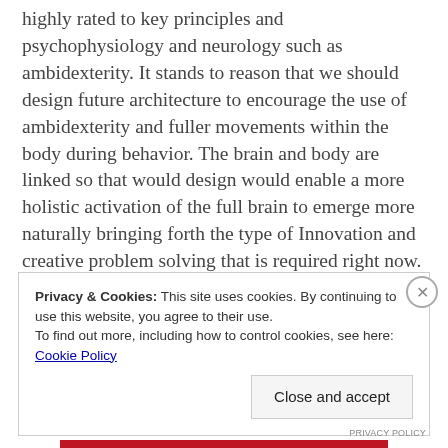highly rated to key principles and psychophysiology and neurology such as ambidexterity. It stands to reason that we should design future architecture to encourage the use of ambidexterity and fuller movements within the body during behavior. The brain and body are linked so that would design would enable a more holistic activation of the full brain to emerge more naturally bringing forth the type of Innovation and creative problem solving that is required right now.
Privacy & Cookies: This site uses cookies. By continuing to use this website, you agree to their use.
To find out more, including how to control cookies, see here: Cookie Policy
Close and accept